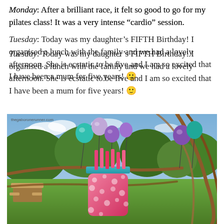Monday: After a brilliant race, it felt so good to go for my pilates class! It was a very intense “cardio” session.
Tuesday: Today was my daughter’s FIFTH Birthday! I organised a lunch with the family and we had a lovely afternoon. She is ecstatic to be five and I am so excited that I have been a mum for five years! 🙂
[Figure (photo): Outdoor birthday party photo showing colorful balloons (teal, purple, lilac) on sticks, a pink polka-dot jar/vase with pink paper straws, set in a metal frame (bicycle), with green lawn and trees in the background. Watermark reads thegaboronerunner.com.]